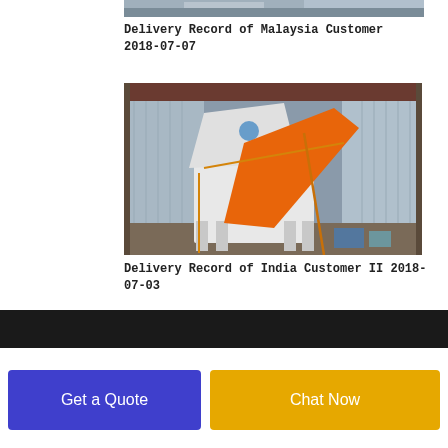[Figure (photo): Top portion of a delivery photo showing a truck/shipping scene, partially visible at top of page]
Delivery Record of Malaysia Customer 2018-07-07
[Figure (photo): Industrial machinery (appears to be a feed mill or similar equipment with an orange chute/hopper) loaded inside a shipping container, strapped down with orange straps. Equipment is white and orange colored.]
Delivery Record of India Customer II 2018-07-03
Get a Quote | Chat Now